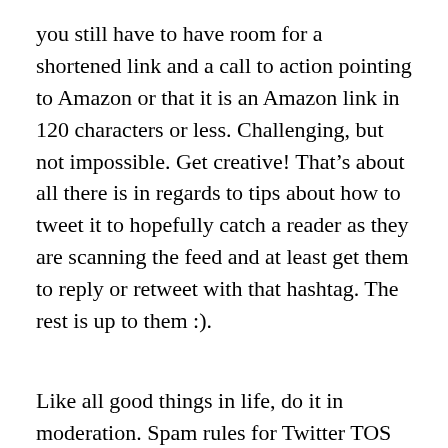you still have to have room for a shortened link and a call to action pointing to Amazon or that it is an Amazon link in 120 characters or less. Challenging, but not impossible. Get creative! That's about all there is in regards to tips about how to tweet it to hopefully catch a reader as they are scanning the feed and at least get them to reply or retweet with that hashtag. The rest is up to them :).
Like all good things in life, do it in moderation. Spam rules for Twitter TOS still apply and do does the “cool kid” rules of Twitter etiquette.